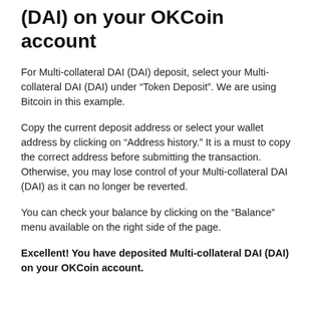(DAI) on your OKCoin account
For Multi-collateral DAI (DAI) deposit, select your Multi-collateral DAI (DAI) under “Token Deposit”. We are using Bitcoin in this example.
Copy the current deposit address or select your wallet address by clicking on “Address history.” It is a must to copy the correct address before submitting the transaction. Otherwise, you may lose control of your Multi-collateral DAI (DAI) as it can no longer be reverted.
You can check your balance by clicking on the “Balance” menu available on the right side of the page.
Excellent! You have deposited Multi-collateral DAI (DAI) on your OKCoin account.